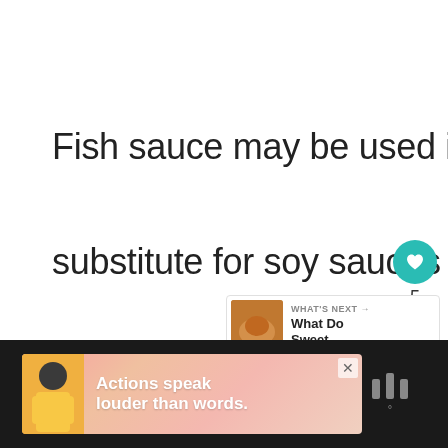Fish sauce may be used in cuisine as a substitute for soy sauces or oyster-flavored sauces.
[Figure (screenshot): Social interaction sidebar with heart/like button showing teal circle with heart icon, count of 5, and share button]
[Figure (screenshot): What's Next card showing thumbnail image and text 'What Do Sweet...']
[Figure (screenshot): Bottom advertisement banner on dark background reading 'Actions speak louder than words.' with person figure on left and X close button]